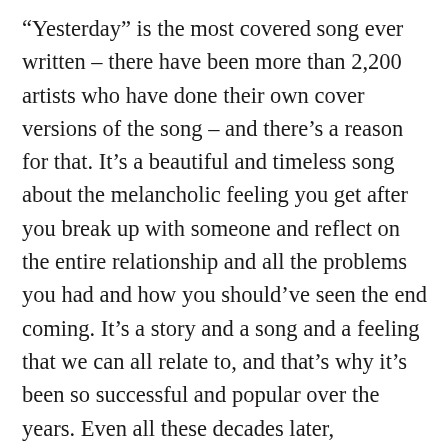“Yesterday” is the most covered song ever written – there have been more than 2,200 artists who have done their own cover versions of the song – and there’s a reason for that. It’s a beautiful and timeless song about the melancholic feeling you get after you break up with someone and reflect on the entire relationship and all the problems you had and how you should’ve seen the end coming. It’s a story and a song and a feeling that we can all relate to, and that’s why it’s been so successful and popular over the years. Even all these decades later, “Yesterday” remains one of the biggest pop hits of all time. Both MTV and Rolling Stone magazine have rated “Yesterday” to be the greatest pop song of all time, while a BBC Radio 2 poll found it to be the best song of the 20th century. The song has a prestigious spot in the Grammy Hall of Fame. A BBC